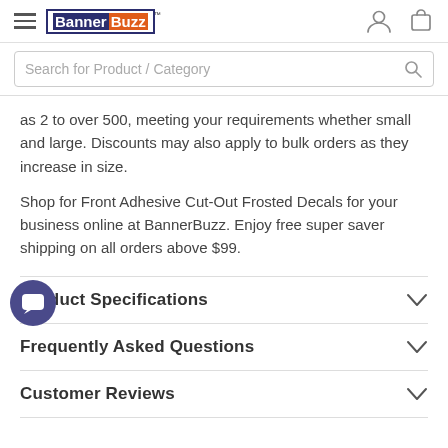BannerBuzz — Navigation header with hamburger menu, logo, user icon, and cart icon
Search for Product / Category
as 2 to over 500, meeting your requirements whether small and large. Discounts may also apply to bulk orders as they increase in size.
Shop for Front Adhesive Cut-Out Frosted Decals for your business online at BannerBuzz. Enjoy free super saver shipping on all orders above $99.
Product Specifications
Frequently Asked Questions
Customer Reviews